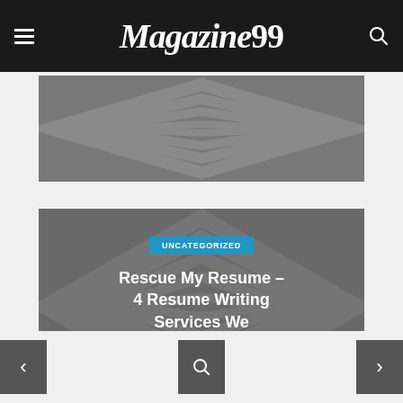Magazine99
[Figure (illustration): Gray decorative geometric polygon pattern card (upper, partially cropped)]
[Figure (illustration): Gray decorative card with category badge UNCATEGORIZED and article title 'Rescue My Resume – 4 Resume Writing Services We Recommend', date June 23, 2022]
UNCATEGORIZED
Rescue My Resume – 4 Resume Writing Services We Recommend
June 23, 2022
< [search icon] >